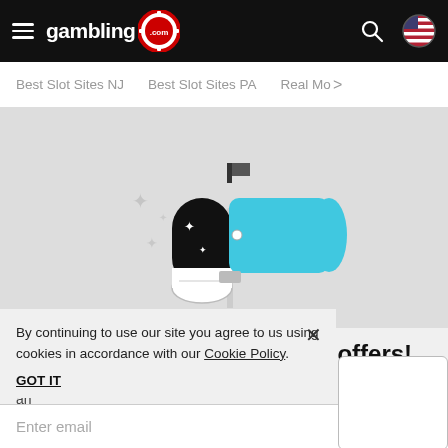gambling.com
Best Slot Sites NJ  Best Slot Sites PA  Real Mo >
[Figure (illustration): Illustration of a mailbox (teal/cyan open mailbox body with a black and white envelope/letter with sparkle stars, on a pole), on a light gray background with decorative sparkle accents.]
Be first to get our exclusive offers!
Jo  es gambling news
an
By continuing to use our site you agree to us using cookies in accordance with our Cookie Policy.
GOT IT
Enter email